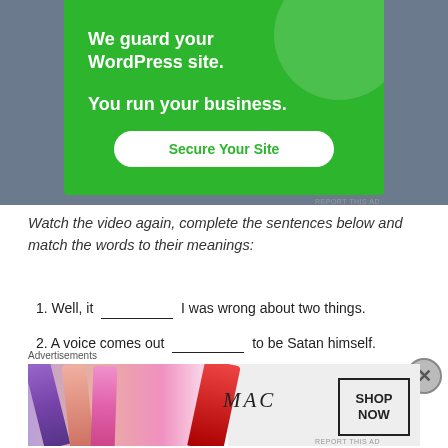[Figure (screenshot): Green advertisement banner for WordPress security service with text 'We guard your WordPress site. You run your business.' and a white button 'Secure Your Site']
Watch the video again, complete the sentences below and match the words to their meanings:
1. Well, it __________ I was wrong about two things.
2. A voice comes out __________ to be Satan himself.
3. Just __________ yourself __________ a silly again.
[Figure (screenshot): MAC Cosmetics advertisement banner showing colorful lipsticks with MAC logo and SHOP NOW button]